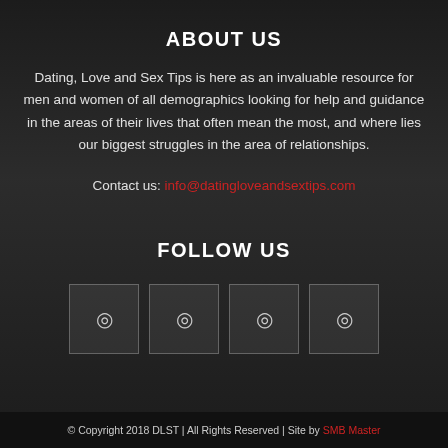ABOUT US
Dating, Love and Sex Tips is here as an invaluable resource for men and women of all demographics looking for help and guidance in the areas of their lives that often mean the most, and where lies our biggest struggles in the area of relationships.
Contact us: info@datingloveandsextips.com
FOLLOW US
[Figure (other): Four social media icon boxes arranged in a row]
© Copyright 2018 DLST | All Rights Reserved | Site by SMB Master